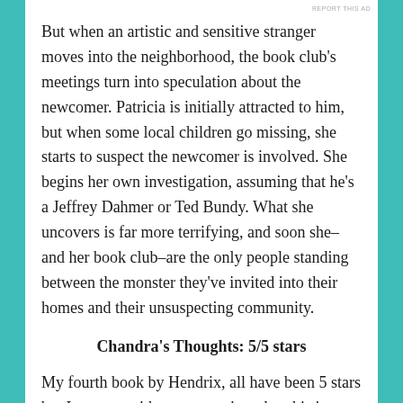REPORT THIS AD
But when an artistic and sensitive stranger moves into the neighborhood, the book club's meetings turn into speculation about the newcomer. Patricia is initially attracted to him, but when some local children go missing, she starts to suspect the newcomer is involved. She begins her own investigation, assuming that he's a Jeffrey Dahmer or Ted Bundy. What she uncovers is far more terrifying, and soon she–and her book club–are the only people standing between the monster they've invited into their homes and their unsuspecting community.
Chandra's Thoughts: 5/5 stars
My fourth book by Hendrix, all have been 5 stars but I can say with some certainty that this is my new